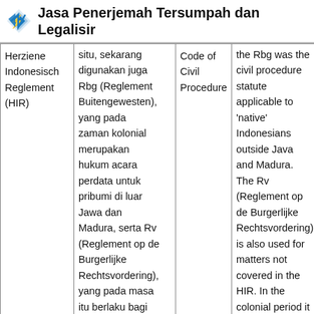Jasa Penerjemah Tersumpah dan Legalisir
|  |  | Code of Civil Procedure |  |
| --- | --- | --- | --- |
| Herziene Indonesisch Reglement (HIR) | situ, sekarang digunakan juga Rbg (Reglement Buitengewesten), yang pada zaman kolonial merupakan hukum acara perdata untuk pribumi di luar Jawa dan Madura, serta Rv (Reglement op de Burgerlijke Rechtsvordering), yang pada masa itu berlaku bagi | Code of Civil Procedure | the Rbg was the civil procedure statute applicable to 'native' Indonesians outside Java and Madura. The Rv (Reglement op de Burgerlijke Rechtsvordering) is also used for matters not covered in the HIR. In the colonial period it |